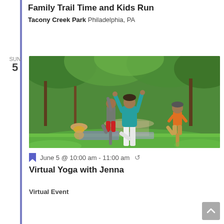Family Trail Time and Kids Run
Tacony Creek Park Philadelphia, PA
SUN 5
[Figure (photo): People doing yoga tree pose outdoors in a green park setting. An instructor in a teal shirt with arms raised, a child in red shorts, and another child in an orange top, with a toddler sitting on the grass in the background.]
June 5 @ 10:00 am - 11:00 am
Virtual Yoga with Jenna
Virtual Event